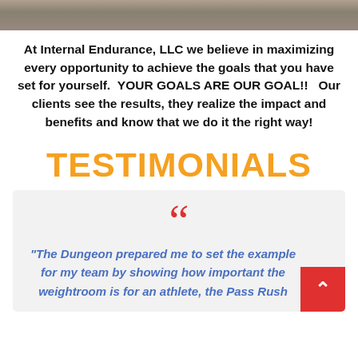[Figure (photo): Top strip showing gym/fitness equipment photo]
At Internal Endurance, LLC we believe in maximizing every opportunity to achieve the goals that you have set for yourself. YOUR GOALS ARE OUR GOAL!! Our clients see the results, they realize the impact and benefits and know that we do it the right way!
TESTIMONIALS
" The Dungeon prepared me to set the example for my team by showing how important the weightroom is for an athlete, the Pass Rush